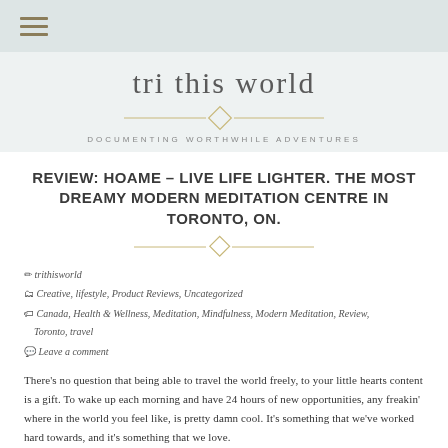≡
tri this world
DOCUMENTING WORTHWHILE ADVENTURES
REVIEW: HOAME – LIVE LIFE LIGHTER. THE MOST DREAMY MODERN MEDITATION CENTRE IN TORONTO, ON.
✏ trithisworld
📁 Creative, lifestyle, Product Reviews, Uncategorized
🏷 Canada, Health & Wellness, Meditation, Mindfulness, Modern Meditation, Review, Toronto, travel
💬 Leave a comment
There's no question that being able to travel the world freely, to your little hearts content is a gift. To wake up each morning and have 24 hours of new opportunities, any freakin' where in the world you feel like, is pretty damn cool. It's something that we've worked hard towards, and it's something that we love.